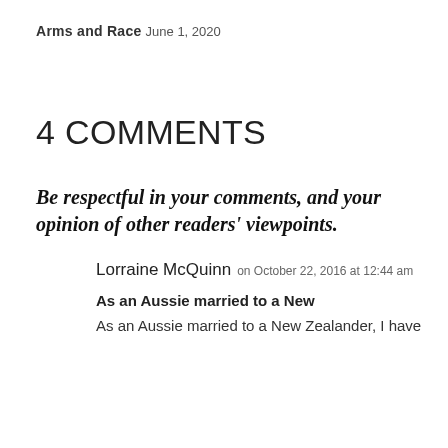Arms and Race
June 1, 2020
4 COMMENTS
Be respectful in your comments, and your opinion of other readers' viewpoints.
Lorraine McQuinn on October 22, 2016 at 12:44 am
As an Aussie married to a New
As an Aussie married to a New Zealander, I have